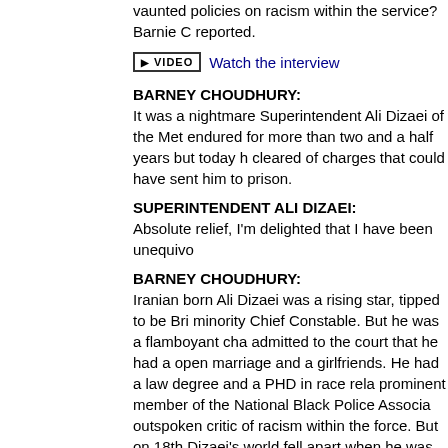vaunted policies on racism within the service? Barnie C reported.
[Figure (other): Video button with play icon and VIDEO label, followed by link 'Watch the interview']
BARNEY CHOUDHURY: It was a nightmare Superintendent Ali Dizaei of the Met endured for more than two and a half years but today h cleared of charges that could have sent him to prison.
SUPERINTENDENT ALI DIZAEI: Absolute relief, I'm delighted that I have been unequivo
BARNEY CHOUDHURY: Iranian born Ali Dizaei was a rising star, tipped to be Bri minority Chief Constable. But he was a flamboyant cha admitted to the court that he had a open marriage and a girlfriends. He had a law degree and a PHD in race rela prominent member of the National Black Police Associa outspoken critic of racism within the force. But on 18th Dizaei's world fell apart when he was suspended.
SUPERINTENDENT ALI DIZAEI: The Assistant Commissioner, Mike Todd, now Chief Co Manchester, read the allegations to me, and you know s actually thought he was quite funny. You know when yo shock, I thought it was funny, some of the allegations w that I thought they were funny.
BARNEY CHOUDHURY: The newspaper headlines the next day screamed allega